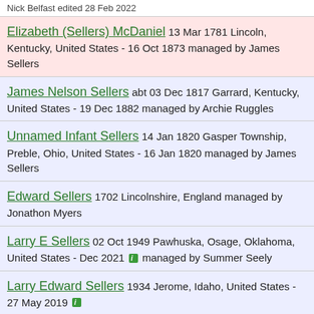Nick Belfast edited 28 Feb 2022
Elizabeth (Sellers) McDaniel 13 Mar 1781 Lincoln, Kentucky, United States - 16 Oct 1873 managed by James Sellers
James Nelson Sellers abt 03 Dec 1817 Garrard, Kentucky, United States - 19 Dec 1882 managed by Archie Ruggles
Unnamed Infant Sellers 14 Jan 1820 Gasper Township, Preble, Ohio, United States - 16 Jan 1820 managed by James Sellers
Edward Sellers 1702 Lincolnshire, England managed by Jonathon Myers
Larry E Sellers 02 Oct 1949 Pawhuska, Osage, Oklahoma, United States - Dec 2021 managed by Summer Seely
Larry Edward Sellers 1934 Jerome, Idaho, United States - 27 May 2019